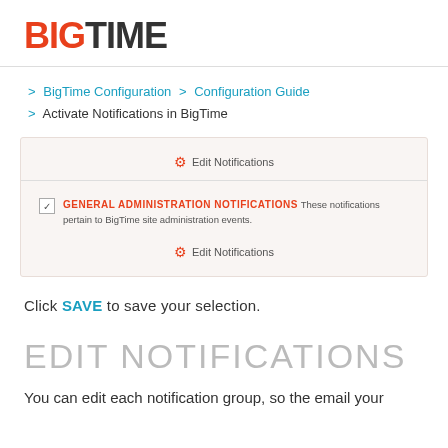[Figure (logo): BigTime logo with BIG in red/orange and TIME in dark gray]
> BigTime Configuration > Configuration Guide
> Activate Notifications in BigTime
[Figure (screenshot): Screenshot of BigTime Edit Notifications UI showing a gear icon with 'Edit Notifications' button, a checked checkbox for 'GENERAL ADMINISTRATION NOTIFICATIONS These notifications pertain to BigTime site administration events.' and another 'Edit Notifications' button below.]
Click SAVE to save your selection.
EDIT NOTIFICATIONS
You can edit each notification group, so the email your